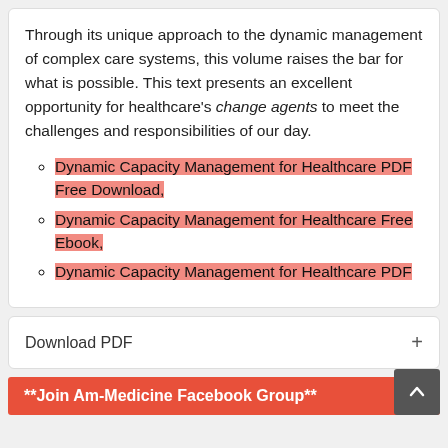Through its unique approach to the dynamic management of complex care systems, this volume raises the bar for what is possible. This text presents an excellent opportunity for healthcare's change agents to meet the challenges and responsibilities of our day.
Dynamic Capacity Management for Healthcare PDF Free Download,
Dynamic Capacity Management for Healthcare Free Ebook,
Dynamic Capacity Management for Healthcare PDF
Download PDF
**Join Am-Medicine Facebook Group**